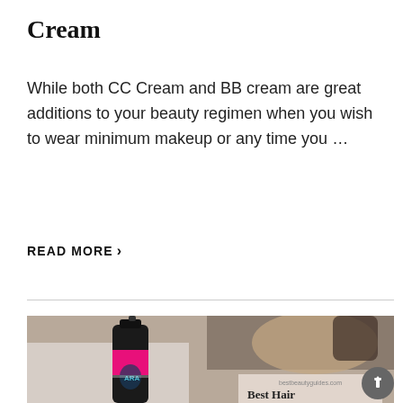Cream
While both CC Cream and BB cream are great additions to your beauty regimen when you wish to wear minimum makeup or any time you …
READ MORE ›
[Figure (photo): A black and pink hairspray can (ARA brand) in the foreground with a blurred person using a hairdryer in the background. A watermark overlay reads 'bestbeautyguides.com' and 'Best Hair...']